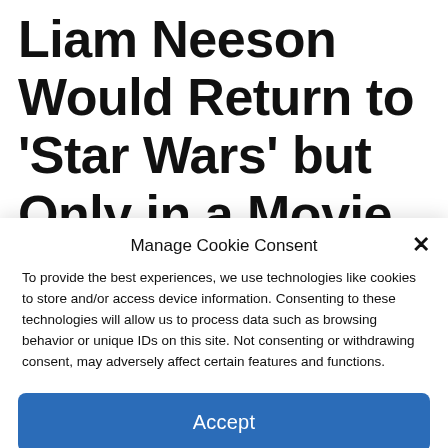Liam Neeson Would Return to 'Star Wars' but Only in a Movie,
Manage Cookie Consent
To provide the best experiences, we use technologies like cookies to store and/or access device information. Consenting to these technologies will allow us to process data such as browsing behavior or unique IDs on this site. Not consenting or withdrawing consent, may adversely affect certain features and functions.
Accept